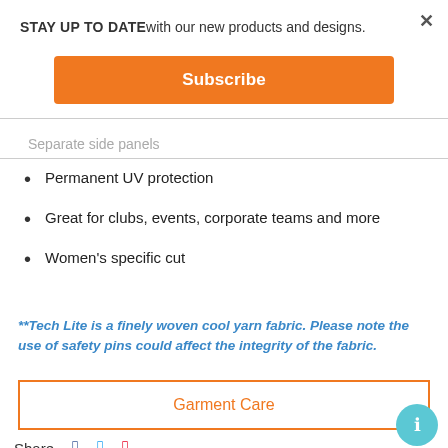STAY UP TO DATE with our new products and designs.
Subscribe
Separate side panels
Permanent UV protection
Great for clubs, events, corporate teams and more
Women's specific cut
**Tech Lite is a finely woven cool yarn fabric. Please note the use of safety pins could affect the integrity of the fabric.
Garment Care
Share